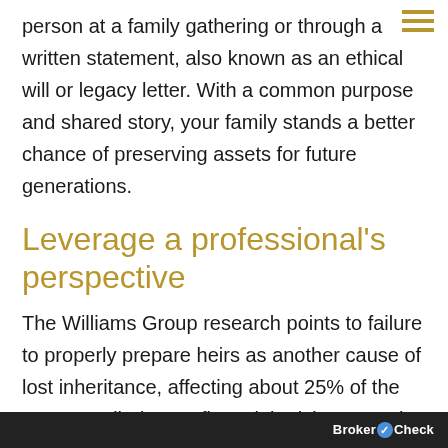person at a family gathering or through a written statement, also known as an ethical will or legacy letter. With a common purpose and shared story, your family stands a better chance of preserving assets for future generations.
Leverage a professional's perspective
The Williams Group research points to failure to properly prepare heirs as another cause of lost inheritance, affecting about 25% of the cases studied. Your financial advisor can play a role in educating you and your family about inheritance, as well as wealth management and its important
BrokerCheck